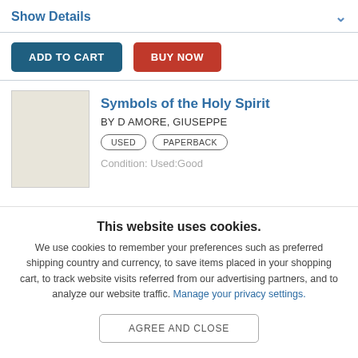Show Details
[Figure (screenshot): ADD TO CART and BUY NOW buttons]
Symbols of the Holy Spirit
BY D AMORE, GIUSEPPE
USED   PAPERBACK
Condition: Used:Good
This website uses cookies.
We use cookies to remember your preferences such as preferred shipping country and currency, to save items placed in your shopping cart, to track website visits referred from our advertising partners, and to analyze our website traffic. Manage your privacy settings.
AGREE AND CLOSE